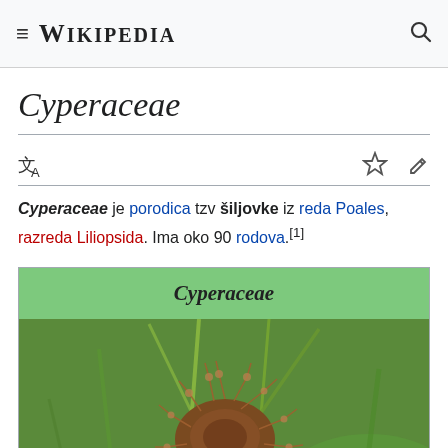Wikipedia
Cyperaceae
Cyperaceae je porodica tzv šiljovke iz reda Poales, razreda Liliopsida. Ima oko 90 rodova.[1]
| Cyperaceae |
| --- |
| [image of Cyperaceae plant] |
[Figure (photo): Close-up photograph of a Cyperaceae (sedge family) plant showing brown spiky flower heads against a green background]